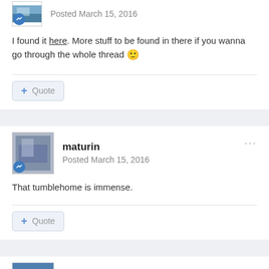Posted March 15, 2016
I found it here. More stuff to be found in there if you wanna go through the whole thread 🙂
+ Quote
maturin
Posted March 15, 2016
That tumblehome is immense.
+ Quote
Capt. Rice
Posted March 15, 2016